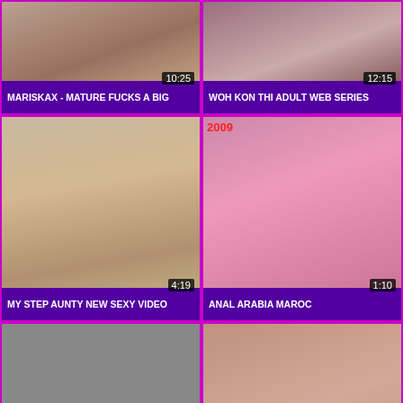[Figure (screenshot): Video thumbnail - MARISKAX - MATURE FUCKS A BIG, duration 10:25]
MARISKAX - MATURE FUCKS A BIG
[Figure (screenshot): Video thumbnail - WOH KON THI ADULT WEB SERIES, duration 12:15]
WOH KON THI ADULT WEB SERIES
[Figure (screenshot): Video thumbnail - MY STEP AUNTY NEW SEXY VIDEO, duration 4:19]
MY STEP AUNTY NEW SEXY VIDEO
[Figure (screenshot): Video thumbnail - ANAL ARABIA MAROC, duration 1:10, year badge 2009]
ANAL ARABIA MAROC
[Figure (screenshot): Video thumbnail - PREGGO MILF WANTS A BIG DICK TO, duration 14:13]
PREGGO MILF WANTS A BIG DICK TO
[Figure (screenshot): Video thumbnail - FUCKING WHILE COOKING: IOLEA, with play button overlay]
FUCKING WHILE COOKING: IOLEA
[Figure (screenshot): Partial video thumbnail row at bottom, two cells]
[Figure (screenshot): Partial video thumbnail row at bottom, second cell]